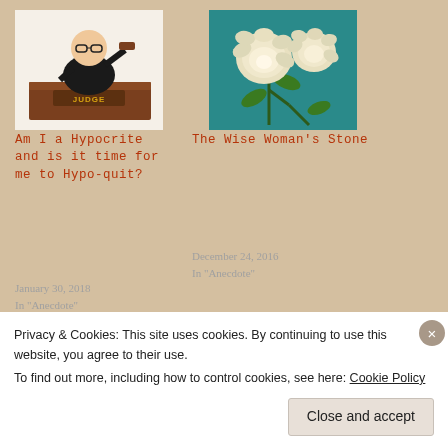[Figure (illustration): Cartoon illustration of a judge sitting behind a bench with a nameplate reading JUDGE, holding a gavel]
[Figure (illustration): Painting-style illustration of white roses on a teal background]
Am I a Hypocrite and is it time for me to Hypo-quit?
January 30, 2018
In "Anecdote"
The Wise Woman's Stone
December 24, 2016
In "Anecdote"
Agoraphobia:
Privacy & Cookies: This site uses cookies. By continuing to use this website, you agree to their use.
To find out more, including how to control cookies, see here: Cookie Policy
Close and accept